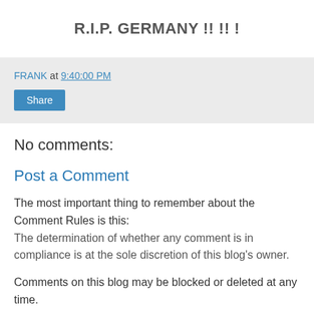R.I.P. GERMANY !! !! !
FRANK at 9:40:00 PM
Share
No comments:
Post a Comment
The most important thing to remember about the Comment Rules is this:
The determination of whether any comment is in compliance is at the sole discretion of this blog's owner.
Comments on this blog may be blocked or deleted at any time.